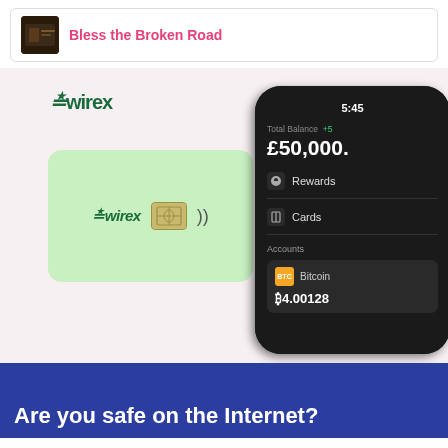[Figure (screenshot): Music player UI showing album art thumbnail and song title 'Bless the Broken Road' in pink text]
[Figure (screenshot): Wirex fintech advertisement showing Wirex logo, a light green Wirex payment card with chip and NFC symbol, and a smartphone showing Wirex app with Total Balance £50,000, Rewards, Cards, Accounts sections, and Bitcoin balance of ₿4.00128]
Are you safe on the Internet?